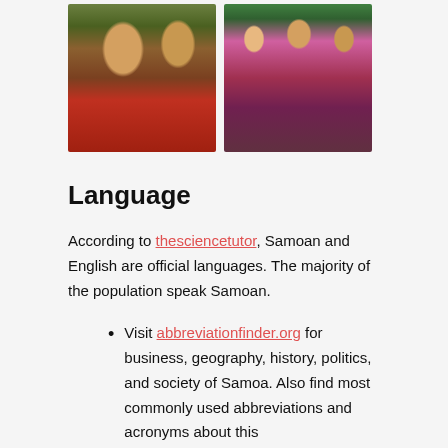[Figure (photo): Two men in traditional Samoan attire with grass skirts and red fabric, standing in a tropical setting]
[Figure (photo): Group of Samoan performers in traditional costumes with pink and purple decorations, dancing outdoors]
Language
According to thesciencetutor, Samoan and English are official languages. The majority of the population speak Samoan.
Visit abbreviationfinder.org for business, geography, history, politics, and society of Samoa. Also find most commonly used abbreviations and acronyms about this